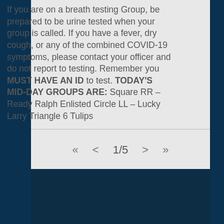If you are on a breath testing Group, be prepared to be urine tested when your group is called. If you have a fever, dry cough, or any of the combined COVID-19 symptoms, please contact your officer and do not report to testing. Remember you MUST HAVE AN ID to test. TODAY'S MID-DAY GROUPS ARE: Square RR – Ready Ralph Enlisted Circle LL – Lucky Larry Triangle 6 Tulips
1/5